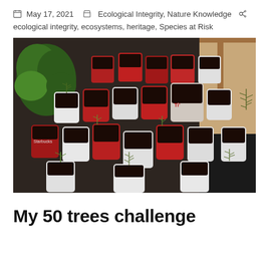May 17, 2021   Ecological Integrity, Nature Knowledge   ecological integrity, ecosystems, heritage, Species at Risk
[Figure (photo): A photo showing dozens of small seedlings growing in red Tim Hortons cups and white plastic cups arranged on a dark tray, with a larger leafy plant on the left side, indoors near a window.]
My 50 trees challenge